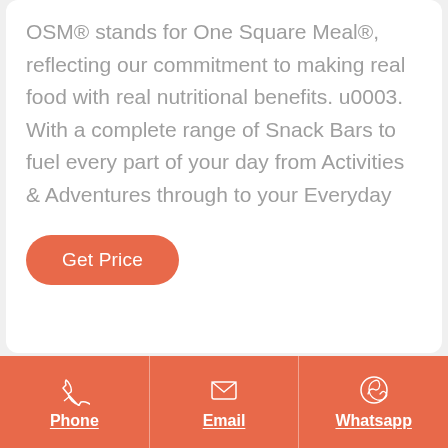OSM® stands for One Square Meal®, reflecting our commitment to making real food with real nutritional benefits. u0003. With a complete range of Snack Bars to fuel every part of your day from Activities & Adventures through to your Everyday
Get Price
Phone | Email | Whatsapp